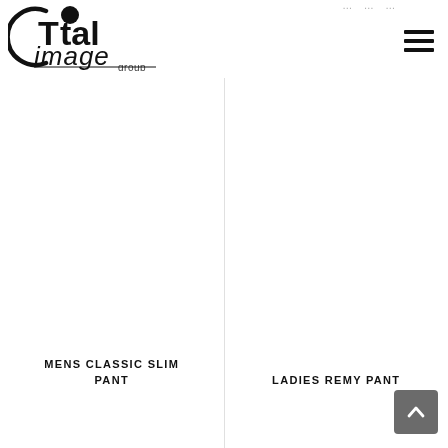[Figure (logo): Total Image Group logo - black text with circular graphic element]
MENS CLASSIC SLIM PANT
LADIES REMY PANT